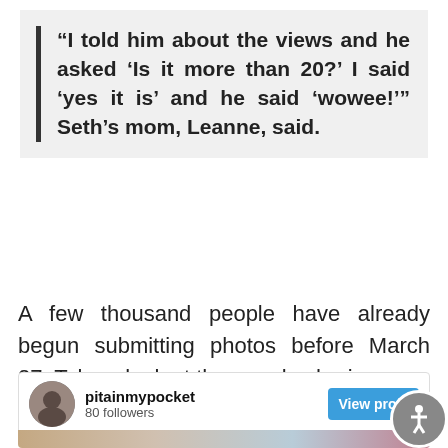“I told him about the views and he asked ‘Is it more than 20?’ I said ‘yes it is’ and he said ‘wowee!’” Seth’s mom, Leanne, said.
A few thousand people have already begun submitting photos before March 27. Take a look at the people sharing:
[Figure (screenshot): Instagram profile card for user 'pitainmypocket' with 80 followers and a 'View profile' button]